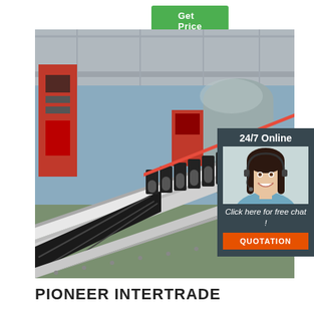Get Price
[Figure (photo): Industrial CNC pipe cutting or tube processing machine on a factory floor, showing a long rail system with segmented clamp fixtures and large pipes in the background. Red and grey machinery visible.]
[Figure (photo): 24/7 Online support widget with a smiling female customer service representative wearing a headset, with text 'Click here for free chat!' and an orange QUOTATION button below.]
PIONEER INTERTRADE